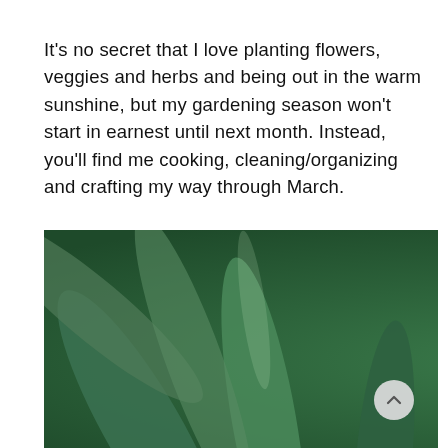It's no secret that I love planting flowers, veggies and herbs and being out in the warm sunshine, but my gardening season won't start in earnest until next month. Instead, you'll find me cooking, cleaning/organizing and crafting my way through March.
[Figure (photo): Close-up photograph of a pink tulip bud emerging from green tulip leaves, with a scroll-up button in the lower right corner of the image.]